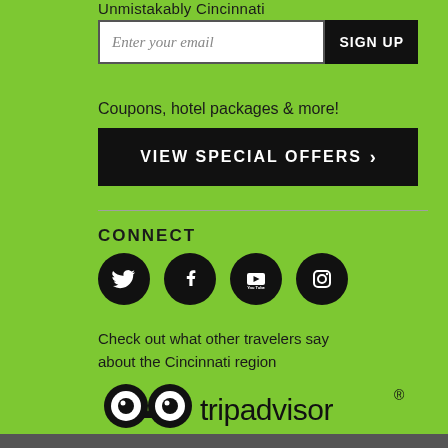Unmistakably Cincinnati
[Figure (screenshot): Email input field with placeholder 'Enter your email' and a black SIGN UP button]
Coupons, hotel packages & more!
VIEW SPECIAL OFFERS ›
CONNECT
[Figure (illustration): Four social media icons: Twitter, Facebook, YouTube, Instagram — black circles on green background]
Check out what other travelers say about the Cincinnati region
[Figure (logo): TripAdvisor logo with owl eyes icon and tripadvisor® wordmark in black on green background]